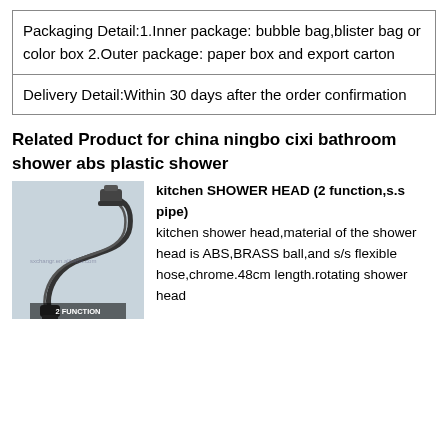| Packaging Detail:1.Inner package: bubble bag,blister bag or color box 2.Outer package: paper box and export carton |
| Delivery Detail:Within 30 days after the order confirmation |
Related Product for china ningbo cixi bathroom shower abs plastic shower
[Figure (photo): Kitchen shower head with s.s pipe, 2 function, shown coiled with connector ends, label reads 2 FUNCTION]
kitchen SHOWER HEAD (2 function,s.s pipe) kitchen shower head,material of the shower head is ABS,BRASS ball,and s/s flexible hose,chrome.48cm length.rotating shower head